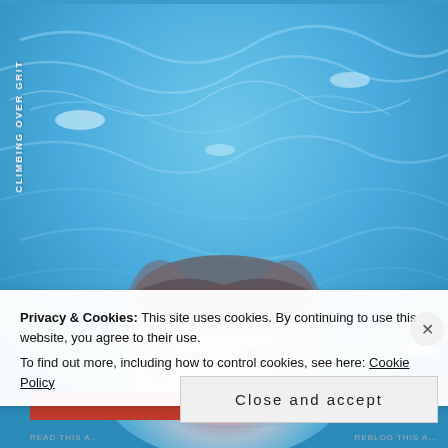[Figure (photo): Person's face submerged underwater in a blue swimming pool, viewed from above through rippling water. The image is used as a book cover or blog header for 'Climbing Over Grit'.]
Climbing Over Grit
Privacy & Cookies: This site uses cookies. By continuing to use this website, you agree to their use.
To find out more, including how to control cookies, see here: Cookie Policy
Close and accept